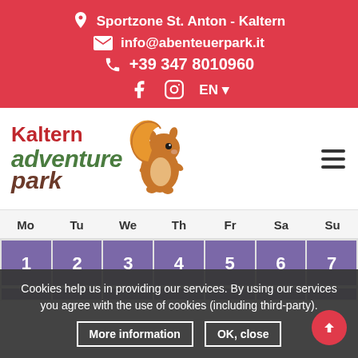Sportzone St. Anton - Kaltern | info@abenteuerpark.it | +39 347 8010960 | Social: Facebook, Instagram | Language: EN
[Figure (logo): Kaltern Adventure Park logo with squirrel mascot and text 'Kaltern adventure park']
| Mo | Tu | We | Th | Fr | Sa | Su |
| --- | --- | --- | --- | --- | --- | --- |
| 1 | 2 | 3 | 4 | 5 | 6 | 7 |
Cookies help us in providing our services. By using our services you agree with the use of cookies (including third-party). More information | OK, close